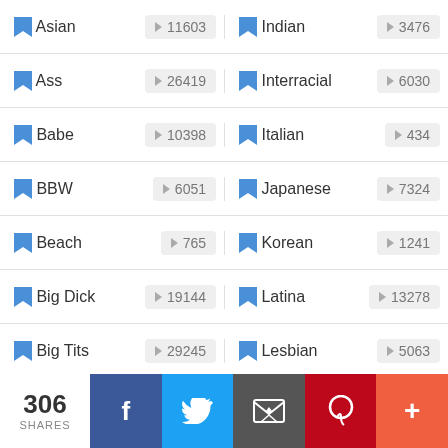Asian | 11603
Indian | 3476
Ass | 26419
Interracial | 6030
Babe | 10398
Italian | 434
BBW | 6051
Japanese | 7324
Beach | 765
Korean | 1241
Big Dick | 19144
Latina | 13278
Big Tits | 29245
Lesbian | 5063
306 SHARES